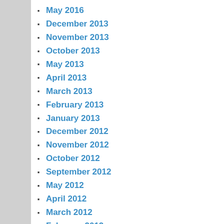May 2016
December 2013
November 2013
October 2013
May 2013
April 2013
March 2013
February 2013
January 2013
December 2012
November 2012
October 2012
September 2012
May 2012
April 2012
March 2012
February 2012
January 2012
November 2011
August 2011
July 2011